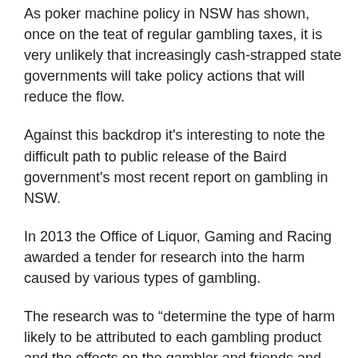As poker machine policy in NSW has shown, once on the teat of regular gambling taxes, it is very unlikely that increasingly cash-strapped state governments will take policy actions that will reduce the flow.
Against this backdrop it's interesting to note the difficult path to public release of the Baird government's most recent report on gambling in NSW.
In 2013 the Office of Liquor, Gaming and Racing awarded a tender for research into the harm caused by various types of gambling.
The research was to “determine the type of harm likely to be attributed to each gambling product and the effects on the gambler and friends and family”.
“The research should determine the level of risk for harm for each of the gambling products,” it said.
Pokies and automatic gambling machines, horses and dogs, casino table games, lotteries, Keno, sports and